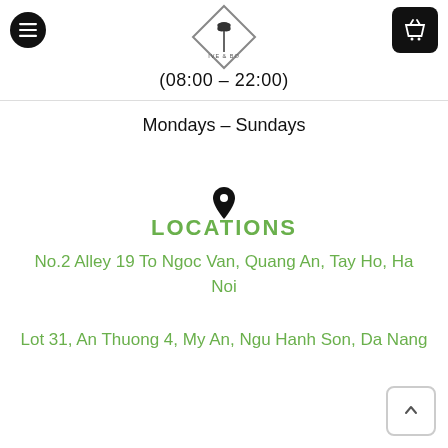[Figure (logo): Diamond-shaped logo with palm tree icon and brand name IVE & BO]
(08:00 – 22:00)
Mondays – Sundays
[Figure (illustration): Map pin / location marker icon]
LOCATIONS
No.2 Alley 19 To Ngoc Van, Quang An, Tay Ho, Ha Noi
Lot 31, An Thuong 4, My An, Ngu Hanh Son, Da Nang